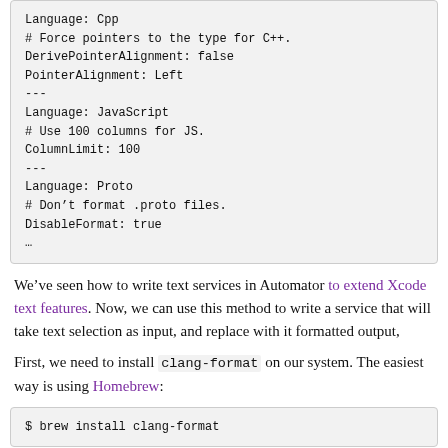Language: Cpp
# Force pointers to the type for C++.
DerivePointerAlignment: false
PointerAlignment: Left
---
Language: JavaScript
# Use 100 columns for JS.
ColumnLimit: 100
---
Language: Proto
# Don't format .proto files.
DisableFormat: true
…
We've seen how to write text services in Automator to extend Xcode text features. Now, we can use this method to write a service that will take text selection as input, and replace with it formatted output,
First, we need to install clang-format on our system. The easiest way is using Homebrew:
$ brew install clang-format